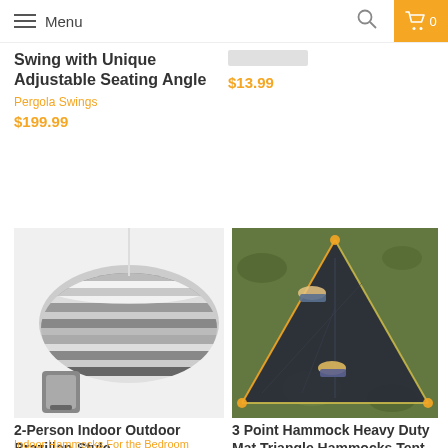Menu
Swing with Unique Adjustable Seating Angle
Pergola Swings
$199.99
$13.99
[Figure (photo): Gray and white striped Brazilian-style hammock with carrying bag]
2-Person Indoor Outdoor Brazilian-Style
Indoor Hammocks For the Bedroom
[Figure (photo): Aerial view of a dark triangle hammock tent with two people lying in it on grass]
3 Point Hammock Heavy Duty Mat Triangle Hammocks Tent